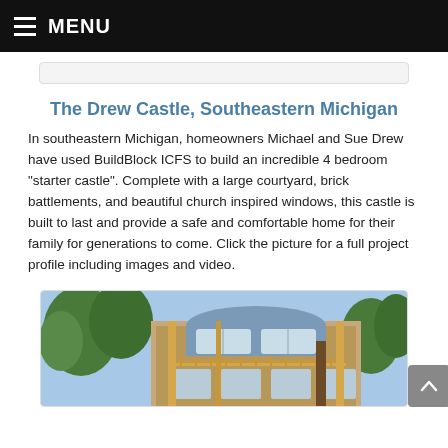MENU
The Drew Castle, Southeastern Michigan
In southeastern Michigan, homeowners Michael and Sue Drew have used BuildBlock ICFS to build an incredible 4 bedroom "starter castle". Complete with a large courtyard, brick battlements, and beautiful church inspired windows, this castle is built to last and provide a safe and comfortable home for their family for generations to come. Click the picture for a full project profile including images and video.
[Figure (photo): Exterior photo of a multi-story residential building with large windows, balconies, and wood trim, surrounded by trees]